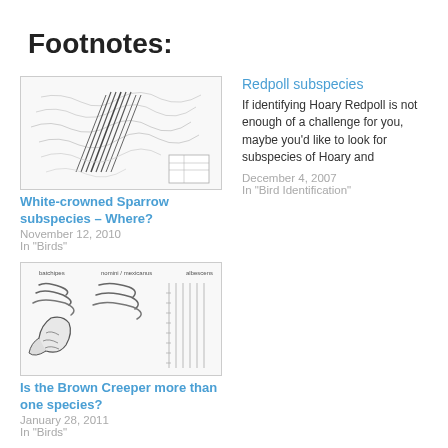Footnotes:
[Figure (illustration): Hand-drawn map sketch showing White-crowned Sparrow subspecies distribution]
White-crowned Sparrow subspecies – Where?
November 12, 2010
In "Birds"
Redpoll subspecies
If identifying Hoary Redpoll is not enough of a challenge for you, maybe you'd like to look for subspecies of Hoary and
December 4, 2007
In "Bird Identification"
[Figure (illustration): Hand-drawn sketch of bird feathers/Brown Creeper]
Is the Brown Creeper more than one species?
January 28, 2011
In "Birds"